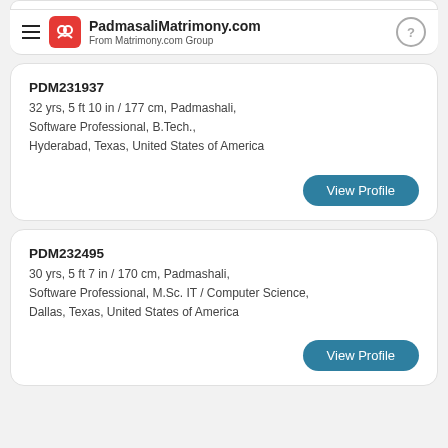PadmasaliMatrimony.com From Matrimony.com Group
PDM231937
32 yrs, 5 ft 10 in / 177 cm, Padmashali, Software Professional, B.Tech., Hyderabad, Texas, United States of America
View Profile
PDM232495
30 yrs, 5 ft 7 in / 170 cm, Padmashali, Software Professional, M.Sc. IT / Computer Science, Dallas, Texas, United States of America
View Profile